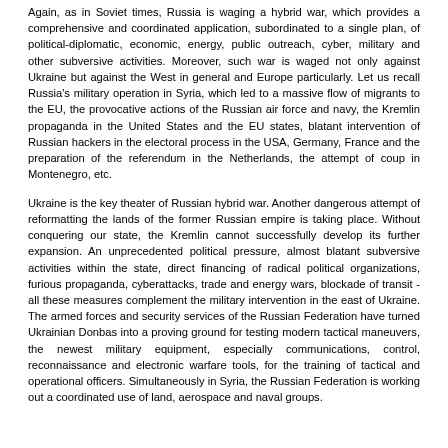Again, as in Soviet times, Russia is waging a hybrid war, which provides a comprehensive and coordinated application, subordinated to a single plan, of political-diplomatic, economic, energy, public outreach, cyber, military and other subversive activities. Moreover, such war is waged not only against Ukraine but against the West in general and Europe particularly. Let us recall Russia's military operation in Syria, which led to a massive flow of migrants to the EU, the provocative actions of the Russian air force and navy, the Kremlin propaganda in the United States and the EU states, blatant intervention of Russian hackers in the electoral process in the USA, Germany, France and the preparation of the referendum in the Netherlands, the attempt of coup in Montenegro, etc.
Ukraine is the key theater of Russian hybrid war. Another dangerous attempt of reformatting the lands of the former Russian empire is taking place. Without conquering our state, the Kremlin cannot successfully develop its further expansion. An unprecedented political pressure, almost blatant subversive activities within the state, direct financing of radical political organizations, furious propaganda, cyberattacks, trade and energy wars, blockade of transit - all these measures complement the military intervention in the east of Ukraine. The armed forces and security services of the Russian Federation have turned Ukrainian Donbas into a proving ground for testing modern tactical maneuvers, the newest military equipment, especially communications, control, reconnaissance and electronic warfare tools, for the training of tactical and operational officers. Simultaneously in Syria, the Russian Federation is working out a coordinated use of land, aerospace and naval groups.